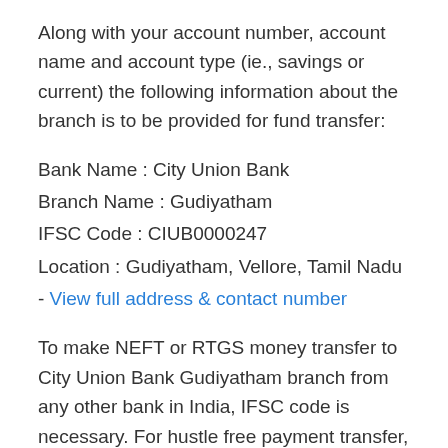Along with your account number, account name and account type (ie., savings or current) the following information about the branch is to be provided for fund transfer:
Bank Name : City Union Bank
Branch Name : Gudiyatham
IFSC Code : CIUB0000247
Location : Gudiyatham, Vellore, Tamil Nadu - View full address & contact number
To make NEFT or RTGS money transfer to City Union Bank Gudiyatham branch from any other bank in India, IFSC code is necessary. For hustle free payment transfer, share the accurate IFSC, branch name and account number with the transforor.